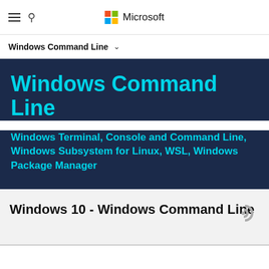Microsoft
Windows Command Line
Windows Command Line
Windows Terminal, Console and Command Line, Windows Subsystem for Linux, WSL, Windows Package Manager
Windows 10 - Windows Command Line